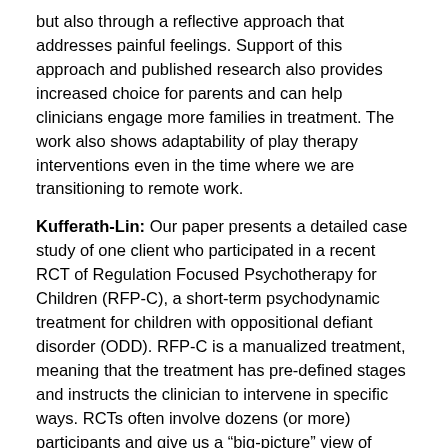but also through a reflective approach that addresses painful feelings. Support of this approach and published research also provides increased choice for parents and can help clinicians engage more families in treatment. The work also shows adaptability of play therapy interventions even in the time where we are transitioning to remote work.
Kufferath-Lin: Our paper presents a detailed case study of one client who participated in a recent RCT of Regulation Focused Psychotherapy for Children (RFP-C), a short-term psychodynamic treatment for children with oppositional defiant disorder (ODD). RFP-C is a manualized treatment, meaning that the treatment has pre-defined stages and instructs the clinician to intervene in specific ways. RCTs often involve dozens (or more) participants and give us a “big-picture” view of treatment efficacy. Our paper presents an opportunity to understand how a manualized treatment (which can sometimes be seen as rigid or impersonal) is fleshed out in relationship with an actual client. It also demonstrates how our interventions can be adapted to new contexts since the therapy took place entirely online.